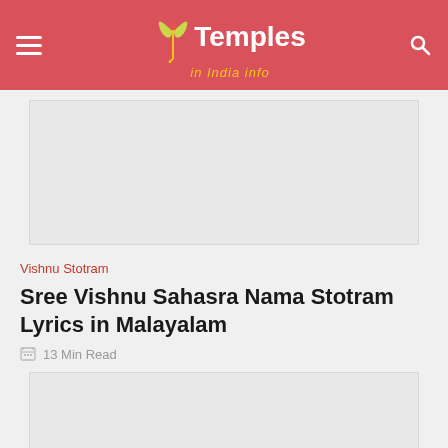Temples in India info
[Figure (other): Advertisement placeholder box]
Vishnu Stotram
Sree Vishnu Sahasra Nama Stotram Lyrics in Malayalam
13 Min Read
[Figure (other): Advertisement placeholder box 2]